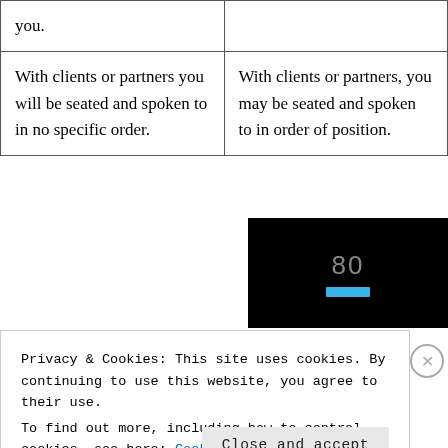| you. |  |
| With clients or partners you will be seated and spoken to in no specific order. | With clients or partners, you may be seated and spoken to in order of position. |
[Figure (screenshot): Video thumbnail showing dark background with number '80' and a blue progress bar below it]
Privacy & Cookies: This site uses cookies. By continuing to use this website, you agree to their use.
To find out more, including how to control cookies, see here: Cookie Policy
Close and accept